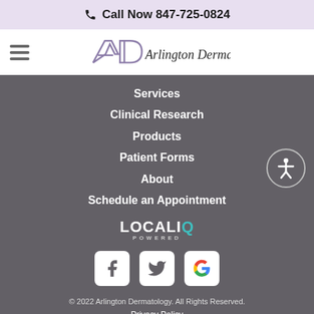Call Now 847-725-0824
[Figure (logo): Arlington Dermatology logo with stylized AD monogram]
Services
Clinical Research
Products
Patient Forms
About
Schedule an Appointment
[Figure (logo): LOCALiQ POWERED logo]
[Figure (infographic): Social media icons: Facebook, Twitter, Google]
© 2022 Arlington Dermatology. All Rights Reserved.
Privacy Policy
Sitemap